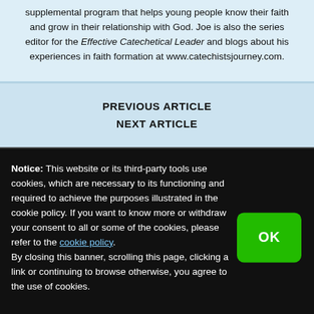supplemental program that helps young people know their faith and grow in their relationship with God. Joe is also the series editor for the Effective Catechetical Leader and blogs about his experiences in faith formation at www.catechistsjourney.com.
PREVIOUS ARTICLE
NEXT ARTICLE
Notice: This website or its third-party tools use cookies, which are necessary to its functioning and required to achieve the purposes illustrated in the cookie policy. If you want to know more or withdraw your consent to all or some of the cookies, please refer to the cookie policy. By closing this banner, scrolling this page, clicking a link or continuing to browse otherwise, you agree to the use of cookies.